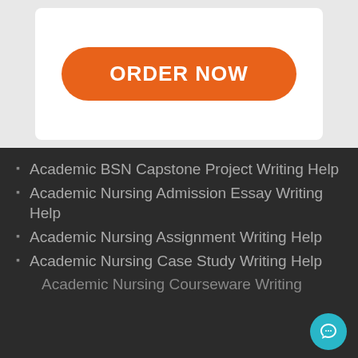[Figure (other): Orange ORDER NOW button on white card with light gray background]
Academic BSN Capstone Project Writing Help
Academic Nursing Admission Essay Writing Help
Academic Nursing Assignment Writing Help
Academic Nursing Case Study Writing Help
Academic Nursing Courseware Writing (partial)